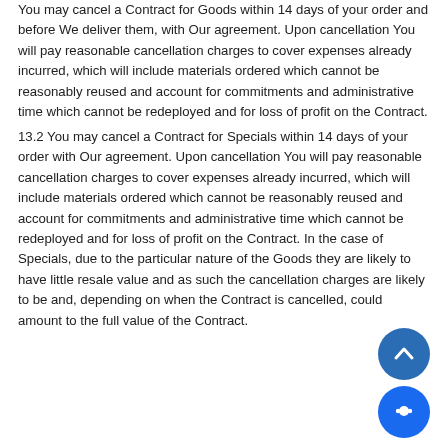You may cancel a Contract for Goods within 14 days of your order and before We deliver them, with Our agreement. Upon cancellation You will pay reasonable cancellation charges to cover expenses already incurred, which will include materials ordered which cannot be reasonably reused and account for commitments and administrative time which cannot be redeployed and for loss of profit on the Contract.
13.2 You may cancel a Contract for Specials within 14 days of your order with Our agreement. Upon cancellation You will pay reasonable cancellation charges to cover expenses already incurred, which will include materials ordered which cannot be reasonably reused and account for commitments and administrative time which cannot be redeployed and for loss of profit on the Contract. In the case of Specials, due to the particular nature of the Goods they are likely to have little resale value and as such the cancellation charges are likely to be and, depending on when the Contract is cancelled, could amount to the full value of the Contract.